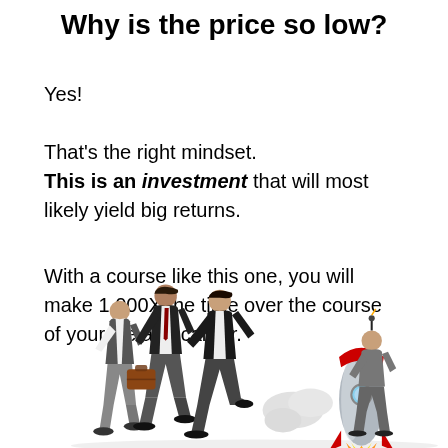Why is the price so low?
Yes!
That's the right mindset. This is an investment that will most likely yield big returns.
With a course like this one, you will make 1.000X the time over the course of your life and career.
[Figure (illustration): People running on the left chasing a rocket with a person sitting on it on the right, illustrating rapid career advancement]